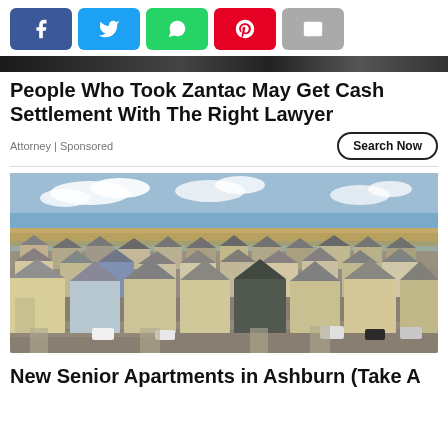[Figure (other): Row of social media sharing buttons: Facebook (blue), Twitter (light blue), WhatsApp (green), Pinterest (red), Email (gray)]
[Figure (photo): Partial dark image strip at top, appears to be a cropped person/background photo]
People Who Took Zantac May Get Cash Settlement With The Right Lawyer
Attorney | Sponsored
Search Now
[Figure (photo): Aerial photograph of a large suburban residential neighborhood with many single-family homes, tan/gray rooftops, streets, driveways, and flat open land in the background under a blue sky with clouds.]
New Senior Apartments in Ashburn (Take A